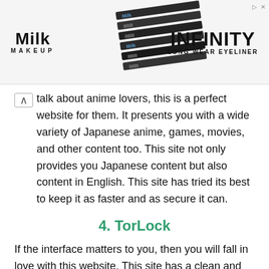[Figure (photo): Advertisement banner for Milk Makeup Infinity Long Wear Eyeliner showing the Milk Makeup logo on the left, pencil/eyeliner products in the center, and 'INFINITY LONG WEAR EYELINER' text on the right]
talk about anime lovers, this is a perfect website for them. It presents you with a wide variety of Japanese anime, games, movies, and other content too. This site not only provides you Japanese content but also content in English. This site has tried its best to keep it as faster and as secure it can.
4. TorLock
If the interface matters to you, then you will fall in love with this website. This site has a clean and attractive interface that provides you with fresh content that includes games, TV series, software, e-books, movies, and many more. Moreover, it provides you with only verified torrents.